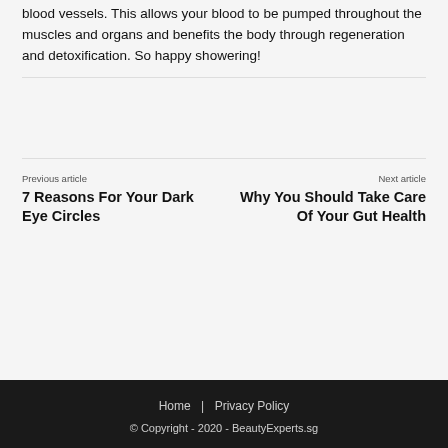blood vessels. This allows your blood to be pumped throughout the muscles and organs and benefits the body through regeneration and detoxification. So happy showering!
Previous article
7 Reasons For Your Dark Eye Circles
Next article
Why You Should Take Care Of Your Gut Health
Home | Privacy Policy
© Copyright - 2020 - BeautyExperts.sg